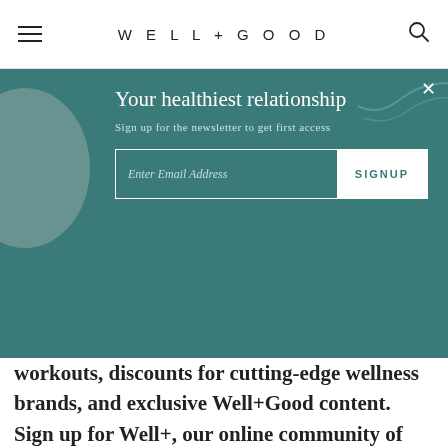WELL+GOOD
Your healthiest relationship
Sign up for the newsletter to get first access
[Figure (screenshot): Email signup form with 'Enter Email Address' input and 'SIGNUP' button on teal background]
workouts, discounts for cutting-edge wellness brands, and exclusive Well+Good content. Sign up for Well+, our online community of wellness insiders, and unlock your rewards instantly.
[Figure (screenshot): Email input field labeled 'Enter Email Address' followed by a teal 'SIGN UP' button]